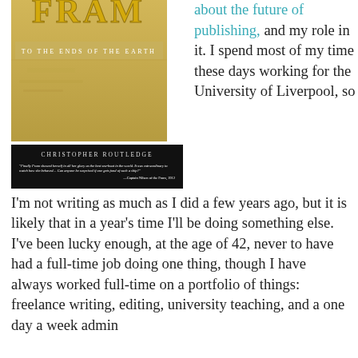[Figure (photo): Book cover photo showing the Fram ship museum sign with 'To the Ends of the Earth' subtitle, with author Christopher Routledge and a quote from Captain Nilsen of the Fram, 1912]
about the future of publishing, and my role in it. I spend most of my time these days working for the University of Liverpool, so I'm not writing as much as I did a few years ago, but it is likely that in a year's time I'll be doing something else. I've been lucky enough, at the age of 42, never to have had a full-time job doing one thing, though I have always worked full-time on a portfolio of things: freelance writing, editing, university teaching, and a one day a week admin